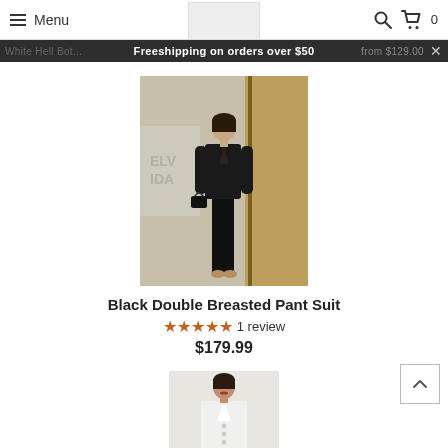Menu | [logo/nav image] | Search | Cart 0
Freeshipping on orders over $50
White Hell Bot... from $129.00
[Figure (photo): Woman wearing a black double breasted pant suit, full-length pose in front of a store backdrop]
Black Double Breasted Pant Suit
★★★★★ 1 review
$179.99
[Figure (photo): Partial view of a woman in a white blazer/suit at the bottom of the page]